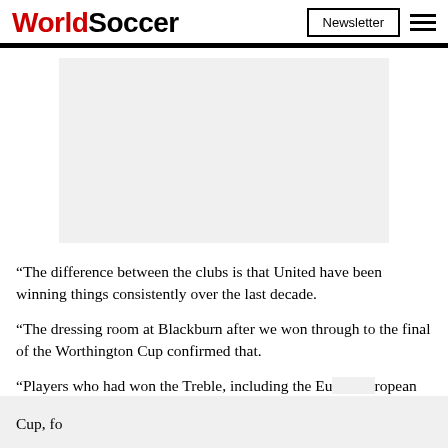WorldSoccer
[Figure (other): Advertisement placeholder - light grey rectangle]
“The difference between the clubs is that United have been winning things consistently over the last decade.
“The dressing room at Blackburn after we won through to the final of the Worthington Cup confirmed that.
“Players who had won the Treble, including the European Cup, for…